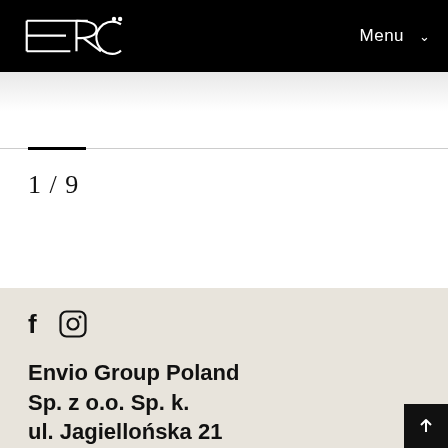ERC  Menu
[Figure (other): Progress bar showing 1 of 9, with thick black fill on left portion and thin gray line extending to the right]
1/9
[Figure (other): Social media icons: Facebook (f) and Instagram (circle with camera)]
Envio Group Poland Sp. z o.o. Sp. k. ul. Jagiellońska 21